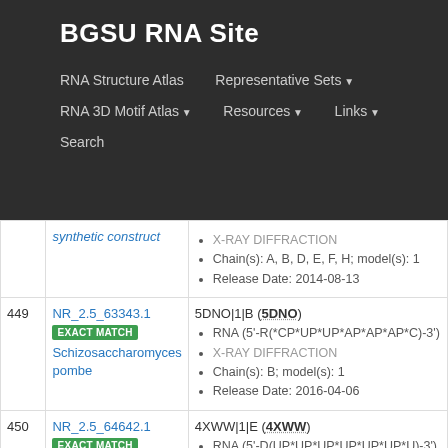BGSU RNA Site
RNA Structure Atlas | Representative Sets | RNA 3D Motif Atlas | Resources | Links | Search
| # | ID / Match | Entry Details |
| --- | --- | --- |
| (partial) | synthetic construct | X-RAY DIFFRACTION | Chain(s): A, B, D, E, F, H; model(s): 1 | Release Date: 2014-08-13 |
| 449 | NR_2.5_63343.1 EXACT MATCH Schizosaccharomyces pombe | 5DNO|1|B (5DNO) | RNA (5'-R(*CP*UP*UP*AP*AP*AP*C)-3') | X-RAY DIFFRACTION | Chain(s): B; model(s): 1 | Release Date: 2016-04-06 |
| 450 | NR_2.5_64642.1 EXACT MATCH synthetic construct | 4XWW|1|E (4XWW) | RNA (5'-D(UP*UP*UP*UP*UP*UP*U)-3') | X-RAY DIFFRACTION | Chain(s): E; model(s): 1 | Release Date: 2015-12-16 |